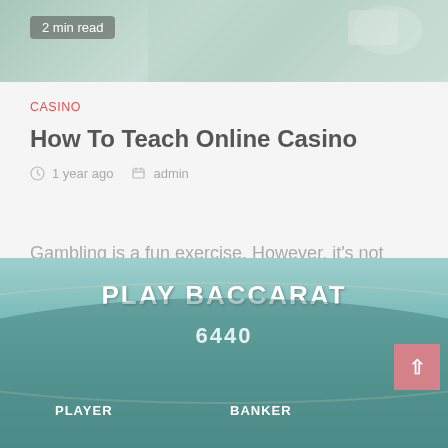[Figure (photo): Top portion of casino/cards themed image with green background, partially visible]
2 min read
CASINO
How To Teach Online Casino
1 year ago  admin
Gambling is a fun exercise. However, it's not one to resolve any important life issues. That's why most of the...
[Figure (photo): Play Baccarat promotional image with casino table, cards showing Player and Banker hands with score 6440]